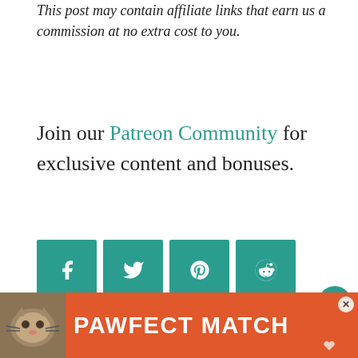This post may contain affiliate links that earn us a commission at no extra cost to you.
Join our Patreon Community for exclusive content and bonuses.
[Figure (other): Four teal social sharing buttons: Facebook (f), Twitter (bird), Pinterest (p), Reddit (alien)]
[Figure (other): Heart/like button (teal circle with heart icon), count of 6, and share button]
One of the most charming and traditional things to do in London is a spot of afternoon tea. Afternoon tea has been a popular pastime in London since the 1840s and it has been recently...
[Figure (other): WHAT'S NEXT panel showing 13 Japanese Cookbooks...]
[Figure (advertisement): PAWFECT MATCH advertisement banner with orange background and cat photo]